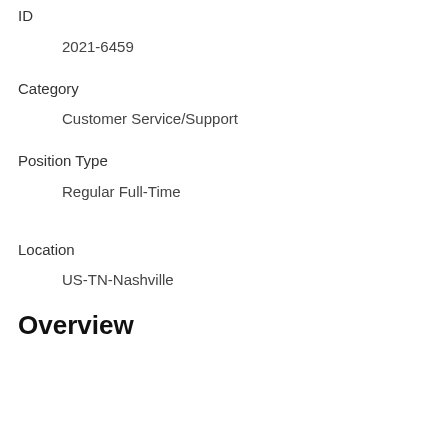ID
2021-6459
Category
Customer Service/Support
Position Type
Regular Full-Time
Location
US-TN-Nashville
Overview